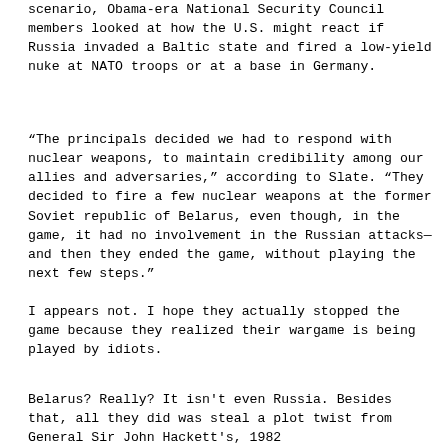scenario, Obama-era National Security Council members looked at how the U.S. might react if Russia invaded a Baltic state and fired a low-yield nuke at NATO troops or at a base in Germany.
“The principals decided we had to respond with nuclear weapons, to maintain credibility among our allies and adversaries,” according to Slate. “They decided to fire a few nuclear weapons at the former Soviet republic of Belarus, even though, in the game, it had no involvement in the Russian attacks—and then they ended the game, without playing the next few steps.”
I appears not. I hope they actually stopped the game because they realized their wargame is being played by idiots.
Belarus? Really? It isn't even Russia. Besides that, all they did was steal a plot twist from General Sir John Hackett's, 1982